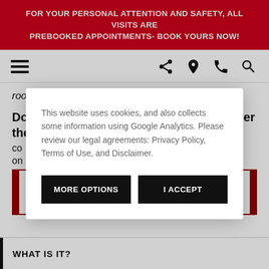FOR YOUR PERSONAL ATTENTION AND SAFETY, ALL VISITS ARE PREBOOKED APPOINTMENTS- BOOK YOURS NOW!
[Figure (screenshot): Navigation bar with hamburger menu icon on the left and share, location, phone, and search icons on the right]
room in your home.
Download the catalogue below to discover the
co...ns on...
This website uses cookies, and also collects some information using Google Analytics. Please review our legal agreements: Privacy Policy, Terms of Use, and Disclaimer.
MORE OPTIONS | I ACCEPT
WHAT IS IT?